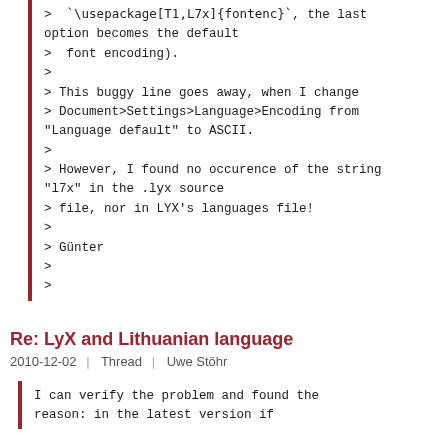> `\usepackage[T1,L7x]{fontenc}`, the last option becomes the default
>  font encoding).
>
> This buggy line goes away, when I change
> Document>Settings>Language>Encoding from
"Language default" to ASCII.
>
> However, I found no occurence of the string
"l7x" in the .lyx source
> file, nor in LYX's languages file!
>
> Günter
>
>
Re: LyX and Lithuanian language
2010-12-02   |   Thread   |   Uwe Stöhr
I can verify the problem and found the reason: in the latest version if